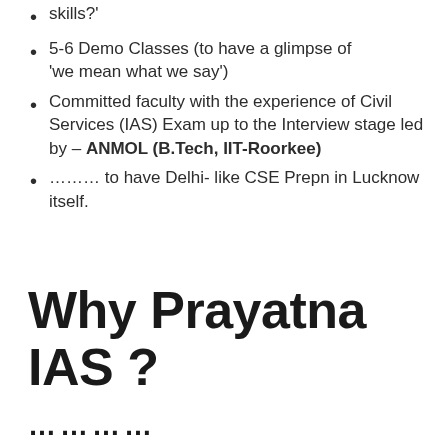skills?'
5-6 Demo Classes (to have a glimpse of 'we mean what we say')
Committed faculty with the experience of Civil Services (IAS) Exam up to the Interview stage led by – ANMOL (B.Tech, IIT-Roorkee)
……… to have Delhi- like CSE Prepn in Lucknow itself.
Why Prayatna IAS ?
…………